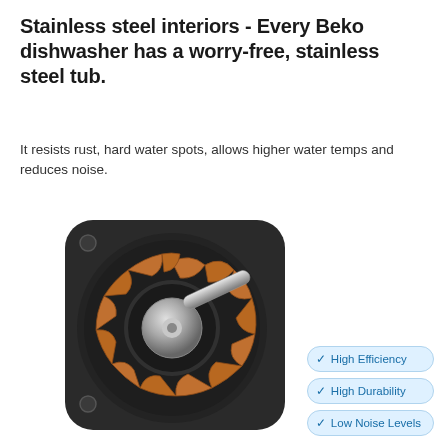Stainless steel interiors - Every Beko dishwasher has a worry-free, stainless steel tub.
It resists rust, hard water spots, allows higher water temps and reduces noise.
[Figure (photo): A disassembled brushless motor showing copper windings arranged in a circular stator pattern with a central rotor shaft, on a white background. Overlaid with three badge labels: High Efficiency, High Durability, Low Noise Levels.]